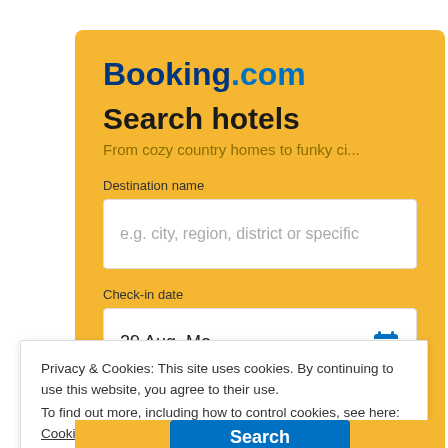Booking.com
Search hotels
From cozy country homes to funky ci...
Destination name
e.g. city, region, district or specific
Check-in date
29 Aug, Mo
Privacy & Cookies: This site uses cookies. By continuing to use this website, you agree to their use.
To find out more, including how to control cookies, see here: Cookie Policy
Close and accept
Search